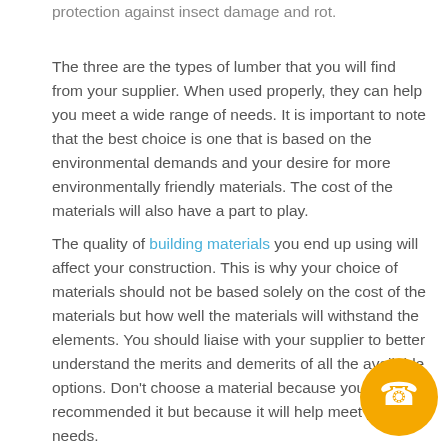protection against insect damage and rot.
The three are the types of lumber that you will find from your supplier. When used properly, they can help you meet a wide range of needs. It is important to note that the best choice is one that is based on the environmental demands and your desire for more environmentally friendly materials. The cost of the materials will also have a part to play.
The quality of building materials you end up using will affect your construction. This is why your choice of materials should not be based solely on the cost of the materials but how well the materials will withstand the elements. You should liaise with your supplier to better understand the merits and demerits of all the available options. Don't choose a material because your friend recommended it but because it will help meet your needs.
[Figure (illustration): Orange circular phone/call button icon in bottom-right corner]